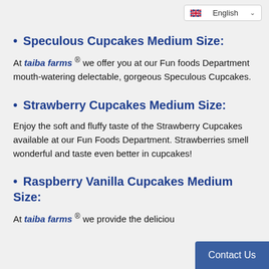[Figure (screenshot): Language selector dropdown showing English with UK flag icon]
Speculous Cupcakes Medium Size:
At taiba farms ® we offer you at our Fun foods Department mouth-watering delectable, gorgeous Speculous Cupcakes.
Strawberry Cupcakes Medium Size:
Enjoy the soft and fluffy taste of the Strawberry Cupcakes available at our Fun Foods Department. Strawberries smell wonderful and taste even better in cupcakes!
Raspberry Vanilla Cupcakes Medium Size:
At taiba farms ® we provide the deliciou